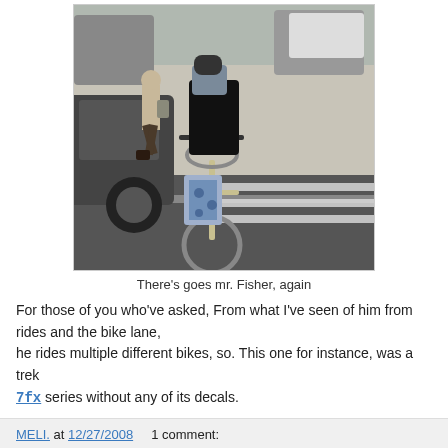[Figure (photo): Street scene showing a person riding a bicycle from behind, wearing black clothing and carrying a patterned bag on the bicycle. A pedestrian and parked cars are visible in the background.]
There's goes mr. Fisher, again
For those of you who've asked, From what I've seen of him from rides and the bike lane, he rides multiple different bikes, so. This one for instance, was a trek 7fx series without any of its decals.
MELI. at 12/27/2008   1 comment: